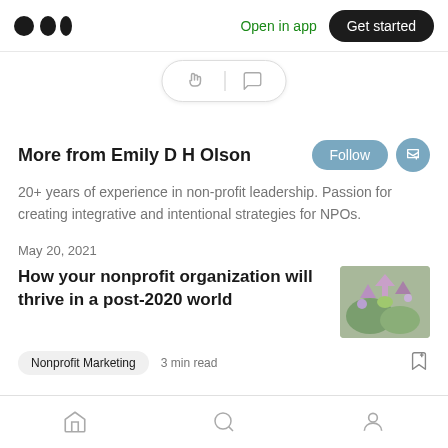Medium logo | Open in app | Get started
[Figure (illustration): Clapping hand and speech bubble icons in a rounded pill widget]
More from Emily D H Olson
20+ years of experience in non-profit leadership. Passion for creating integrative and intentional strategies for NPOs.
May 20, 2021
How your nonprofit organization will thrive in a post-2020 world
[Figure (photo): Thumbnail photo of purple flowers and green leaves]
Nonprofit Marketing   3 min read
Home | Search | Profile icons